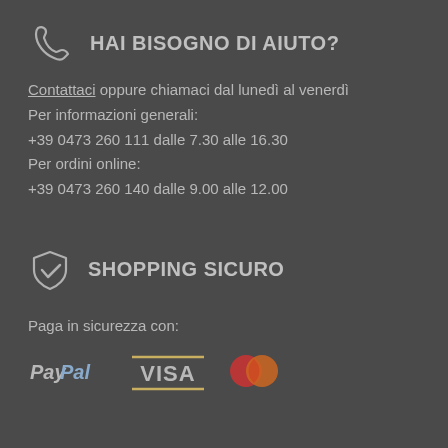HAI BISOGNO DI AIUTO?
Contattaci oppure chiamaci dal lunedì al venerdì
Per informazioni generali:
+39 0473 260 111 dalle 7.30 alle 16.30
Per ordini online:
+39 0473 260 140 dalle 9.00 alle 12.00
SHOPPING SICURO
Paga in sicurezza con:
[Figure (logo): Payment logos: PayPal, VISA, Mastercard]